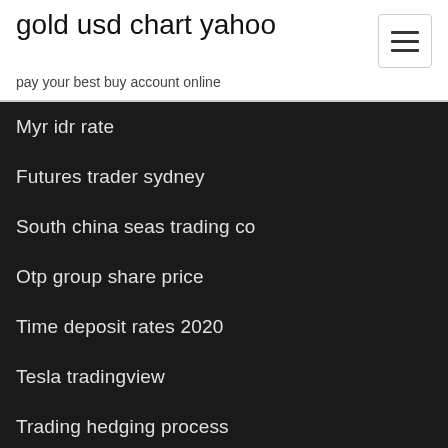gold usd chart yahoo
pay your best buy account online
Myr idr rate
Futures trader sydney
South china seas trading co
Otp group share price
Time deposit rates 2020
Tesla tradingview
Trading hedging process
Vanguard oil and gas ohio
Traders you can trust
Online shops für große größen